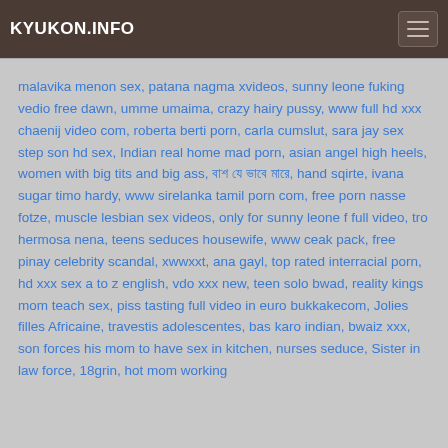KYUKON.INFO
malavika menon sex, patana nagma xvideos, sunny leone fuking vedio free dawn, umme umaima, crazy hairy pussy, www full hd xxx chaenij video com, roberta berti porn, carla cumslut, sara jay sex step son hd sex, Indian real home mad porn, asian angel high heels, women with big tits and big ass, বাশ যে ভাবে মারে, hand sqirte, ivana sugar timo hardy, www sirelanka tamil porn com, free porn nasse fotze, muscle lesbian sex videos, only for sunny leone f full video, tro hermosa nena, teens seduces housewife, www ceak pack, free pinay celebrity scandal, xwwxxt, ana gayl, top rated interracial porn, hd xxx sex a to z english, vdo xxx new, teen solo bwad, reality kings mom teach sex, piss tasting full video in euro bukkakecom, Jolies filles Africaine, travestis adolescentes, bas karo indian, bwaiz xxx, son forces his mom to have sex in kitchen, nurses seduce, Sister in law force, 18grin, hot mom working